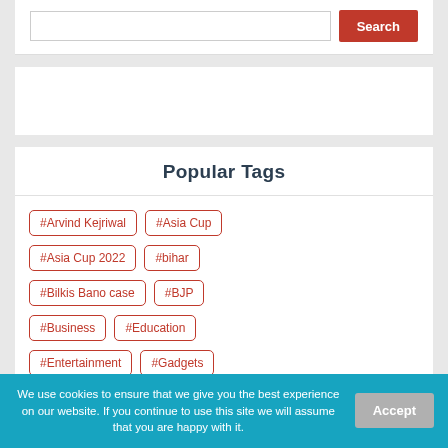[Figure (screenshot): Search input box and red Search button]
[Figure (other): Advertisement/banner placeholder area]
Popular Tags
#Arvind Kejriwal
#Asia Cup
#Asia Cup 2022
#bihar
#Bilkis Bano case
#BJP
#Business
#Education
#Entertainment
#Gadgets
#Imran Khan
#India
We use cookies to ensure that we give you the best experience on our website. If you continue to use this site we will assume that you are happy with it.